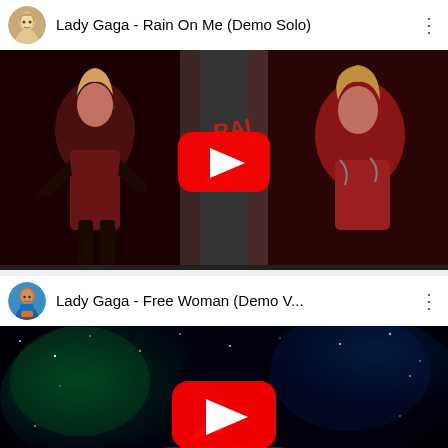[Figure (screenshot): YouTube video card for Lady Gaga - Rain On Me (Demo Solo) with thumbnail showing two performers in red/dark outfits and a YouTube play button overlay]
[Figure (screenshot): YouTube video card for Lady Gaga - Free Woman (Demo V...) with thumbnail showing a performer in a space/galaxy background with a YouTube play button overlay]